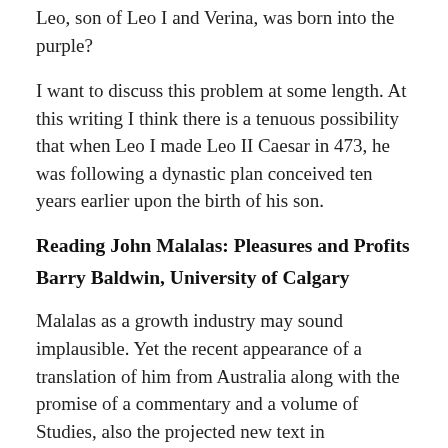Leo, son of Leo I and Verina, was born into the purple?
I want to discuss this problem at some length. At this writing I think there is a tenuous possibility that when Leo I made Leo II Caesar in 473, he was following a dynastic plan conceived ten years earlier upon the birth of his son.
Reading John Malalas: Pleasures and Profits
Barry Baldwin, University of Calgary
Malalas as a growth industry may sound implausible. Yet the recent appearance of a translation of him from Australia along with the promise of a commentary and a volume of Studies, also the projected new text in